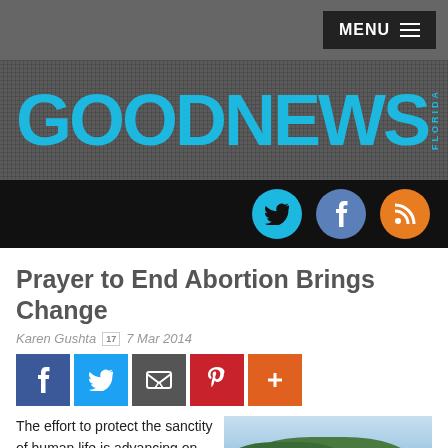MENU
[Figure (logo): GOODNEWS FLORIDA logo in blue on dark textured background]
[Figure (infographic): Social media icons bar: Twitter (cyan), Facebook (blue), RSS (orange) circles on black background]
Prayer to End Abortion Brings Change
Karen Gushta  17  7 Mar 2014
[Figure (infographic): Social share buttons: Facebook (blue), Twitter (light blue), Email (gray), Pinterest (red), More (orange)]
The effort to protect the sanctity of human life is advancing on many fronts. In 2013, 4,648 fewer abortions were performed
[Figure (photo): Outdoor photo showing protest signs reading 'Pray to End Abortion' against trees and sky background]